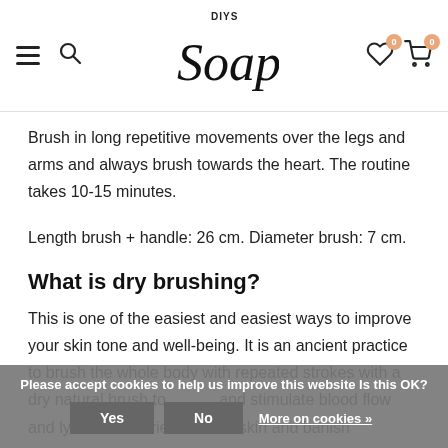DIYSoap header with hamburger menu, search icon, logo, heart icon (0), cart icon (0)
Brush in long repetitive movements over the legs and arms and always brush towards the heart. The routine takes 10-15 minutes.
Length brush + handle: 26 cm. Diameter brush: 7 cm.
What is dry brushing?
This is one of the easiest and easiest ways to improve your skin tone and well-being. It is an ancient practice to brush the whole body with repeated strokes with a dry natural brush to cleanse, rejuvenate, and stimulate blood flow and lymph flow to bring nutrients to the skin and banish